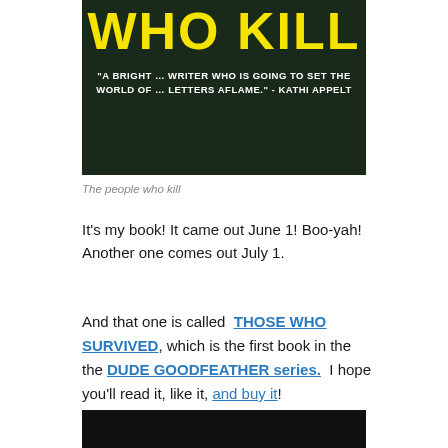[Figure (photo): Book cover showing 'WHO KILL' in large yellow text on dark background with quote: 'A bright ... writer who is going to set the world of ... letters aflame.' - Kathi Appelt]
The people who kill
It's my book! It came out June 1! Boo-yah! Another one comes out July 1.
And that one is called THOSE WHO SURVIVED, which is the first book in the the DUDE GOODFEATHER series. I hope you'll read it, like it, and buy it!
[Figure (photo): Partial bottom image, dark/black background, cropped]